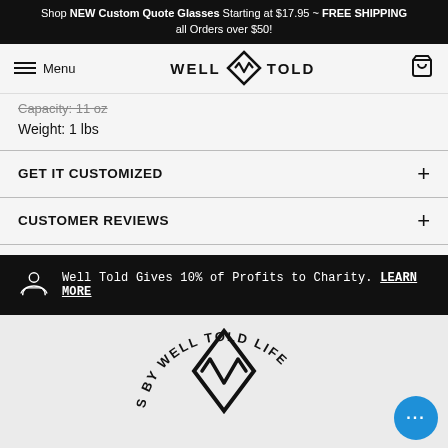Shop NEW Custom Quote Glasses Starting at $17.95 ~ FREE SHIPPING all Orders over $50!
Menu | WELL TOLD (logo) | Cart
Capacity: 11 oz
Weight: 1 lbs
GET IT CUSTOMIZED
CUSTOMER REVIEWS
Well Told Gives 10% of Profits to Charity. LEARN MORE
[Figure (logo): Well Told Life circular logo with diamond W icon in center, text reading 'S BY WELL TOLD LIFE' arc around top]